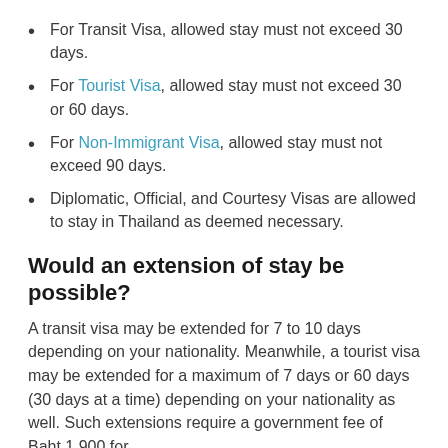For Transit Visa, allowed stay must not exceed 30 days.
For Tourist Visa, allowed stay must not exceed 30 or 60 days.
For Non-Immigrant Visa, allowed stay must not exceed 90 days.
Diplomatic, Official, and Courtesy Visas are allowed to stay in Thailand as deemed necessary.
Would an extension of stay be possible?
A transit visa may be extended for 7 to 10 days depending on your nationality. Meanwhile, a tourist visa may be extended for a maximum of 7 days or 60 days (30 days at a time) depending on your nationality as well. Such extensions require a government fee of Baht 1,900 for